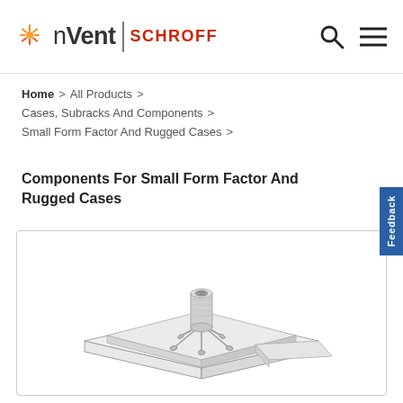nVent | SCHROFF
Home > All Products > Cases, Subracks And Components > Small Form Factor And Rugged Cases > Components For Small Form Factor And Rugged Cases
Components For Small Form Factor And Rugged Cases
[Figure (engineering-diagram): Isometric technical drawing of a square mounting plate component with a threaded standoff/insert in the center, featuring spring clips or retention tabs extending from the base of the standoff. The component appears to be a press-fit or snap-in PCB standoff/fastener for small form factor cases.]